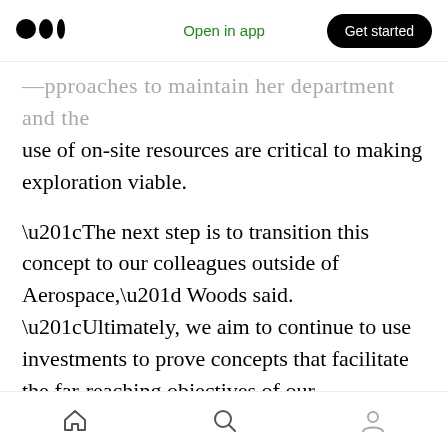Open in app | Get started
…pproaches to maintain her department and the use of on-site resources are critical to making exploration viable.
“The next step is to transition this concept to our colleagues outside of Aerospace,” Woods said. “Ultimately, we aim to continue to use investments to prove concepts that facilitate the far-reaching objectives of our customers.”
. . .
Don’t miss the TC Sessions: Space 2021 panel